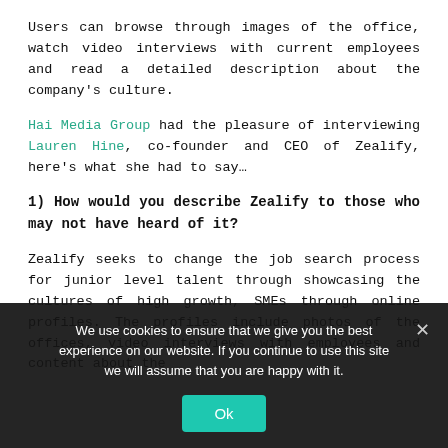Users can browse through images of the office, watch video interviews with current employees and read a detailed description about the company's culture.
Hai Media Group had the pleasure of interviewing Lauren Hine, co-founder and CEO of Zealify, here's what she had to say…
1) How would you describe Zealify to those who may not have heard of it?
Zealify seeks to change the job search process for junior level talent through showcasing the cultures of high growth, SMEs through online profiles. The profiles include photos of the offices, video interviews with employees and content about the
We use cookies to ensure that we give you the best experience on our website. If you continue to use this site we will assume that you are happy with it.